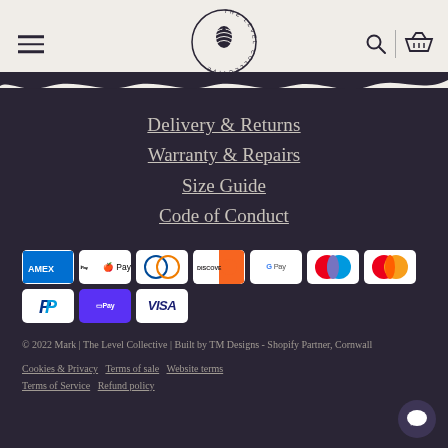[Figure (logo): The Level Collective circular logo with pine cone in center, text around the circle]
Delivery & Returns
Warranty & Repairs
Size Guide
Code of Conduct
[Figure (infographic): Payment method icons: American Express, Apple Pay, Diners Club, Discover, Google Pay, Maestro, Mastercard, PayPal, Shop Pay, Visa]
© 2022 Mark | The Level Collective | Built by TM Designs - Shopify Partner, Cornwall
Cookies & Privacy   Terms of sale   Website terms   Terms of Service   Refund policy